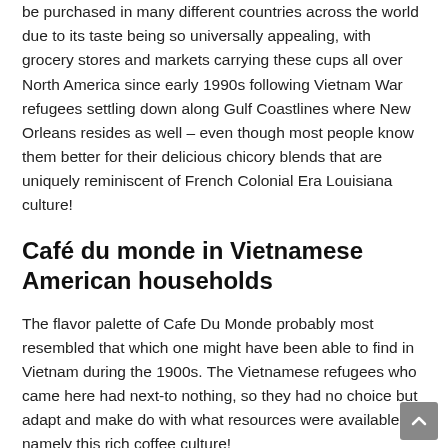be purchased in many different countries across the world due to its taste being so universally appealing, with grocery stores and markets carrying these cups all over North America since early 1990s following Vietnam War refugees settling down along Gulf Coastlines where New Orleans resides as well – even though most people know them better for their delicious chicory blends that are uniquely reminiscent of French Colonial Era Louisiana culture!
Café du monde in Vietnamese American households
The flavor palette of Cafe Du Monde probably most resembled that which one might have been able to find in Vietnam during the 1900s. The Vietnamese refugees who came here had next-to nothing, so they had no choice but adapt and make do with what resources were available – namely this rich coffee culture!
Chicory is not an indigenous Vietnamese ingredient, but it gives